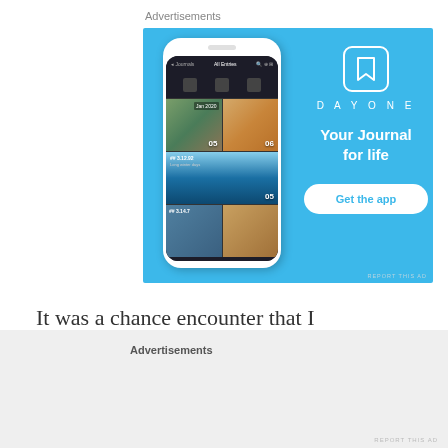Advertisements
[Figure (screenshot): Advertisement banner for DayOne app. Blue background with phone mockup showing a journal/photo grid app interface on the left. On the right: a bookmark icon logo, text 'DAYONE', bold text 'Your Journal for life', and a white rounded 'Get the app' button.]
REPORT THIS AD
It was a chance encounter that I stumbled on Le hora short story at cousins's house. What a brilliant horror story, it
Advertisements
REPORT THIS AD